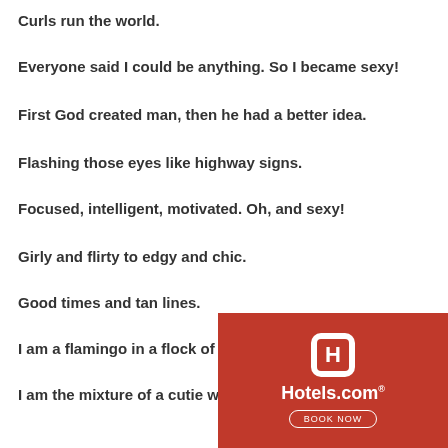Curls run the world.
Everyone said I could be anything. So I became sexy!
First God created man, then he had a better idea.
Flashing those eyes like highway signs.
Focused, intelligent, motivated. Oh, and sexy!
Girly and flirty to edgy and chic.
Good times and tan lines.
I am a flamingo in a flock of pigeons.
I am the mixture of a cutie with a mission and hottie with
[Figure (logo): Hotels.com advertisement banner with red background, white Hotels.com logo icon, Hotels.com text, and BOOK NOW button]